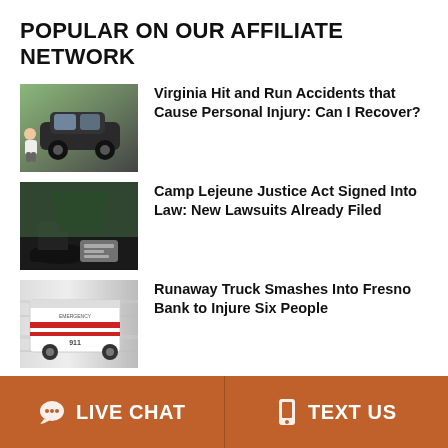POPULAR ON OUR AFFILIATE NETWORK
Virginia Hit and Run Accidents that Cause Personal Injury: Can I Recover?
Camp Lejeune Justice Act Signed Into Law: New Lawsuits Already Filed
Runaway Truck Smashes Into Fresno Bank to Injure Six People
Can A Motorcycle Passenger Make An Insurance Claim After An
LIVE CHAT   TEXT US